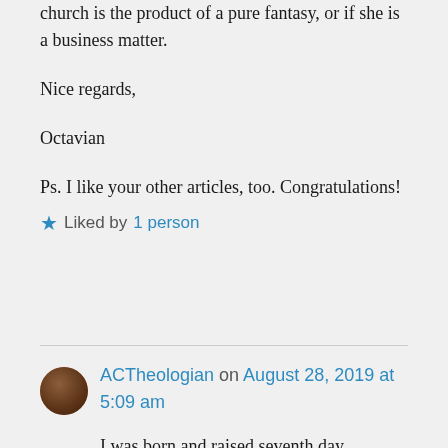church is the product of a pure fantasy, or if she is a business matter.
Nice regards,
Octavian
Ps. I like your other articles, too. Congratulations!
Liked by 1 person
ACTheologian on August 28, 2019 at 5:09 am
I was born and raised seventh day adventist. Went to their private